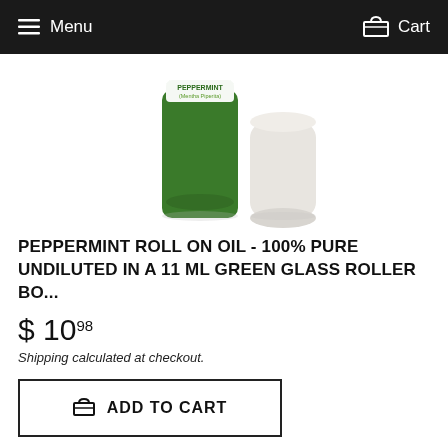Menu   Cart
[Figure (photo): A green cylindrical glass roller bottle labeled 'PEPPERMINT (Mentha Piperita)' next to a white cap/lid, on a white background.]
PEPPERMINT ROLL ON OIL - 100% PURE UNDILUTED IN A 11 ML GREEN GLASS ROLLER BO...
$ 10^98
Shipping calculated at checkout.
ADD TO CART